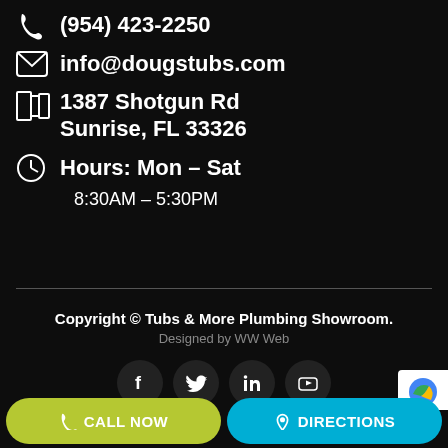(954) 423-2250
info@dougstubs.com
1387 Shotgun Rd
Sunrise, FL 33326
Hours: Mon – Sat
8:30AM – 5:30PM
Copyright © Tubs & More Plumbing Showroom.
Designed by WW Web
[Figure (illustration): Social media icons: Facebook, Twitter, LinkedIn, YouTube]
CALL NOW
DIRECTIONS